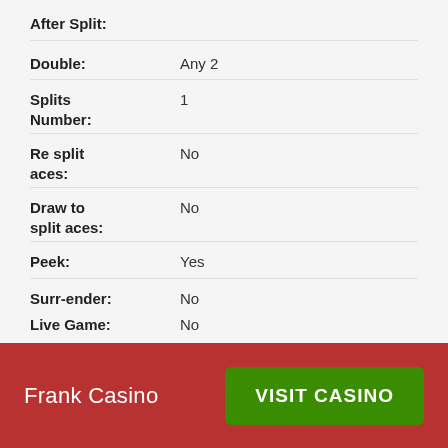After Split:
Double: Any 2
Splits Number: 1
Re split aces: No
Draw to split aces: No
Peek: Yes
Surr-ender: No
Return: 99.54%
Total Decks: 6
Live Game: No
Frank Casino   VISIT CASINO